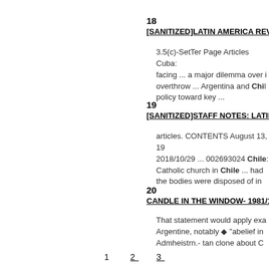18
[SANITIZED]LATIN AMERICA REVIEW 6 ...
3.5(c)-SetTer Page Articles Cuba: facing ... a major dilemma over i overthrow ... Argentina and Chile policy toward key ...
19
[SANITIZED]STAFF NOTES: LATIN AMERI...
articles. CONTENTS August 13, 19... 2018/10/29 ... 002693024 Chile... Catholic church in Chile ... had the bodies were disposed of in...
20
CANDLE IN THE WINDOW- 1981/12/28
That statement would apply exa... Argentine, notably ◆ "abelief in Admheistrn.- tan clone about C...
1   2   3